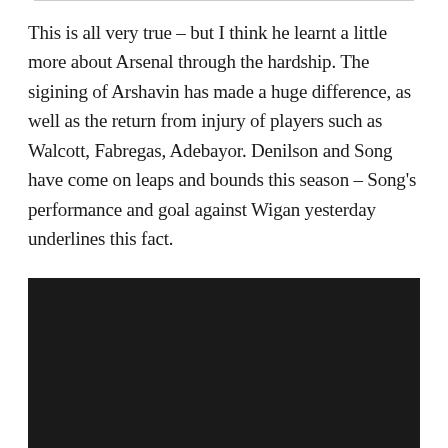This is all very true – but I think he learnt a little more about Arsenal through the hardship. The sigining of Arshavin has made a huge difference, as well as the return from injury of players such as Walcott, Fabregas, Adebayor. Denilson and Song have come on leaps and bounds this season – Song's performance and goal against Wigan yesterday underlines this fact.
[Figure (photo): A large dark/black image block, likely a photo or video thumbnail that is not fully loaded or is a dark scene.]